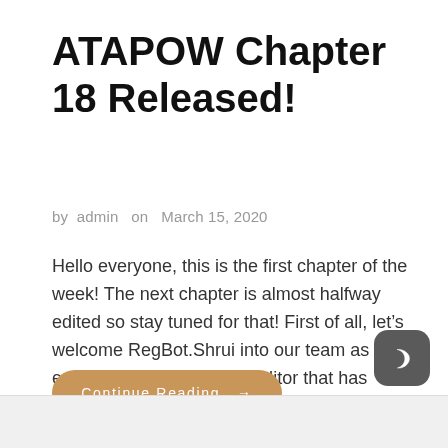ATAPOW Chapter 18 Released!
by admin   on  March 15, 2020
Hello everyone, this is the first chapter of the week! The next chapter is almost halfway edited so stay tuned for that! First of all, let’s welcome RegBot.Shrui into our team as an editor. He is an excellent editor that has edited in writing contests and competitions and is here to help take off some […]
Continue Reading →